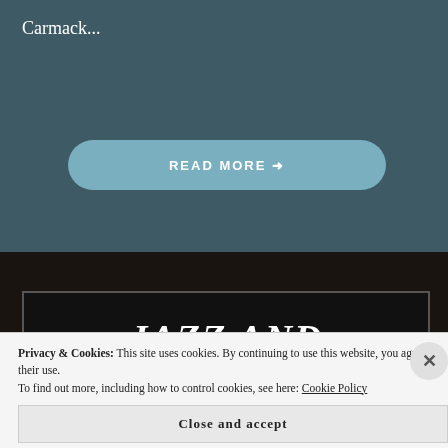Carmack...
READ MORE →
JAZZ AND
Privacy & Cookies: This site uses cookies. By continuing to use this website, you agree to their use.
To find out more, including how to control cookies, see here: Cookie Policy
Close and accept